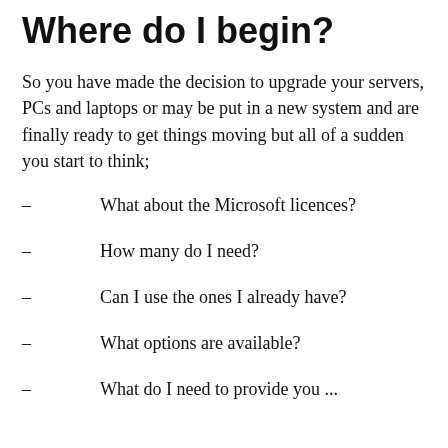Where do I begin?
So you have made the decision to upgrade your servers, PCs and laptops or may be put in a new system and are finally ready to get things moving but all of a sudden you start to think;
What about the Microsoft licences?
How many do I need?
Can I use the ones I already have?
What options are available?
What do I need to provide you ...